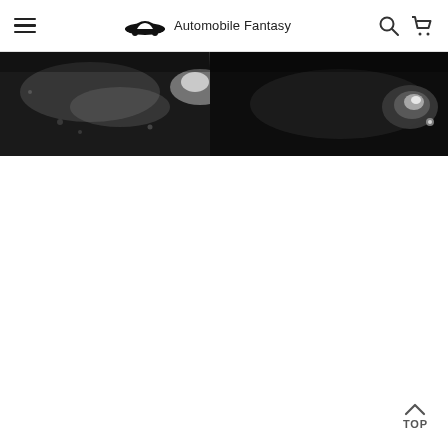Automobile Fantasy
[Figure (photo): Dark close-up photo of a car with water droplets on a dark background, showing car details on left and a light/headlamp area on the right]
TOP